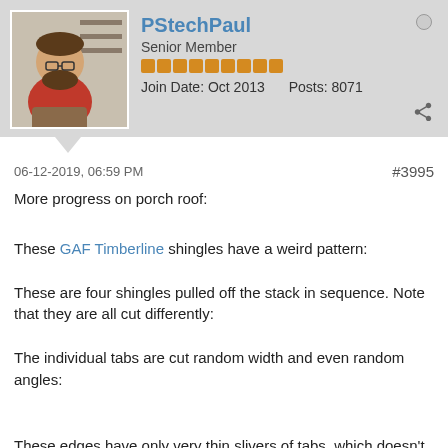PStechPaul Senior Member Join Date: Oct 2013 Posts: 8071
06-12-2019, 06:59 PM #3995
More progress on porch roof:
These GAF Timberline shingles have a weird pattern:
These are four shingles pulled off the stack in sequence. Note that they are all cut differently:
The individual tabs are cut random width and even random angles:
These edges have only very thin slivers of tabs, which doesn't look right at all.
The instructions are not very helpful, and I even called them and they